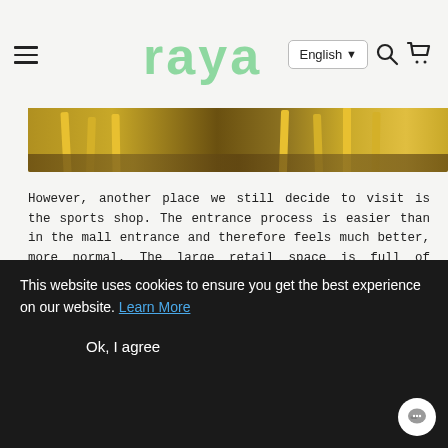raya — English — [search] [cart]
[Figure (photo): Partial photo showing yellow chair legs on a wooden floor background]
However, another place we still decide to visit is the sports shop. The entrance process is easier than in the mall entrance and therefore feels much better, more normal. The large retail space is full of customers. Every single department is buzzing with people exploring a variety of products and fitting rooms are full. There are a lot of families, the children play loud and the atmosphere is light and lively. Even for myself after the first 'new normal' experience, there's a bit of
This website uses cookies to ensure you get the best experience on our website. Learn More
Ok, I agree